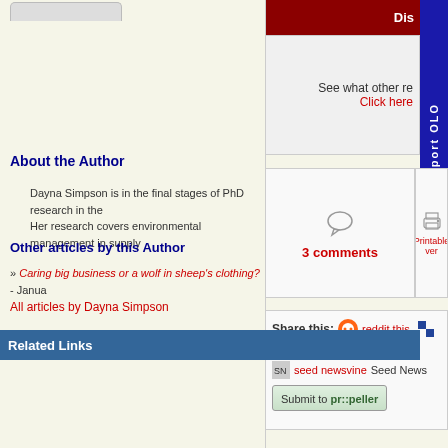Dis[cuss]
See what other re[aders think]
Click here
3 comments
Printable version
Share this:  reddit this  Del.icio.us  seed newsvine Seed News  Submit to propeller
About the Author
Dayna Simpson is in the final stages of PhD research in the... Her research covers environmental management in supply...
Other articles by this Author
» Caring big business or a wolf in sheep's clothing? - Janua[ry]
All articles by Dayna Simpson
Related Links